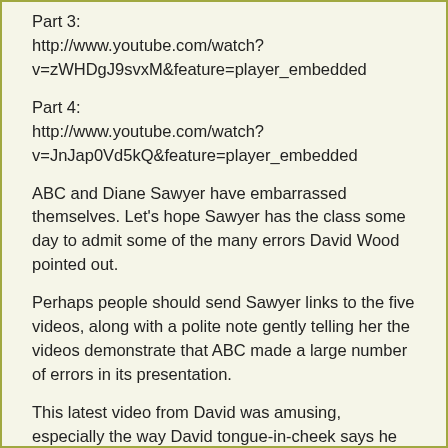Part 3:
http://www.youtube.com/watch?v=zWHDgJ9svxM&feature=player_embedded
Part 4:
http://www.youtube.com/watch?v=JnJap0Vd5kQ&feature=player_embedded
ABC and Diane Sawyer have embarrassed themselves. Let's hope Sawyer has the class some day to admit some of the many errors David Wood pointed out.
Perhaps people should send Sawyer links to the five videos, along with a polite note gently telling her the videos demonstrate that ABC made a large number of errors in its presentation.
This latest video from David was amusing, especially the way David tongue-in-cheek says he expects Sawyer to hit hard on the intolerance of Muhammad. Then when David is so "shocked" at what Sawyer says